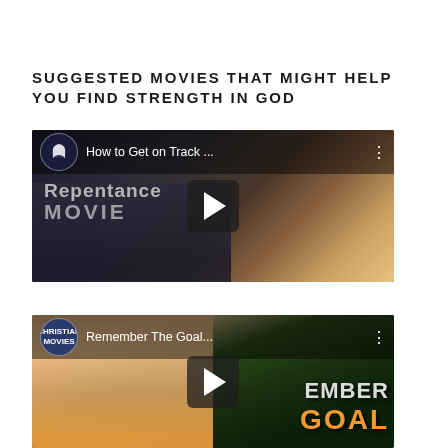SUGGESTED MOVIES THAT MIGHT HELP YOU FIND STRENGTH IN GOD
[Figure (screenshot): YouTube video thumbnail for 'How to Get on Track ...' with Repentance/MOVIE text overlay, crowd scene in dark tones with orange sky, play button centered.]
[Figure (screenshot): YouTube video thumbnail for 'Remember The Goal...' by Christian Movies channel, showing a woman in orange and text overlay 'REMEMBER GOAL' in white/orange on green background, play button centered.]